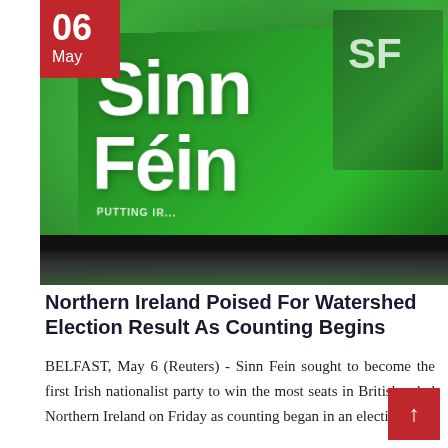[Figure (photo): Sinn Féin campaign flags in green and white with 'Sinn Féin' text and 'PUTTING' visible on a banner, reflecting off a dark surface. A date badge showing '06 May' in red is overlaid on the top-left corner of the photo.]
Northern Ireland Poised For Watershed Election Result As Counting Begins
BELFAST, May 6 (Reuters) - Sinn Fein sought to become the first Irish nationalist party to win the most seats in British-ruled Northern Ireland on Friday as counting began in an election…